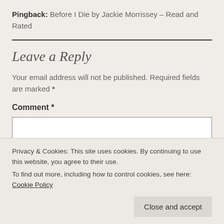Pingback: Before I Die by Jackie Morrissey – Read and Rated
Leave a Reply
Your email address will not be published. Required fields are marked *
Comment *
Privacy & Cookies: This site uses cookies. By continuing to use this website, you agree to their use. To find out more, including how to control cookies, see here: Cookie Policy
Close and accept